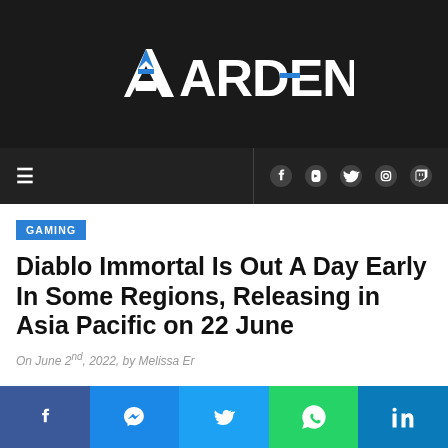[Figure (logo): Ardent logo — white geometric 'A' with blue accent on dark background]
≡   🔘 ▶ 🐦 📷 🎮
GAMING
Diablo Immortal Is Out A Day Early In Some Regions, Releasing in Asia Pacific on 22 June
On June 2nd, 2022, by Melissa Er
[Figure (infographic): Social share bar with Facebook, Messenger, Twitter, WhatsApp, LinkedIn buttons]